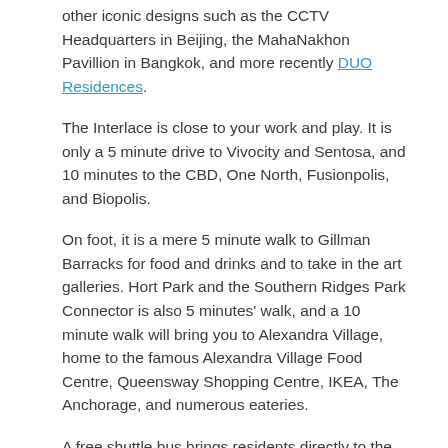other iconic designs such as the CCTV Headquarters in Beijing, the MahaNakhon Pavillion in Bangkok, and more recently DUO Residences.
The Interlace is close to your work and play. It is only a 5 minute drive to Vivocity and Sentosa, and 10 minutes to the CBD, One North, Fusionpolis, and Biopolis.
On foot, it is a mere 5 minute walk to Gillman Barracks for food and drinks and to take in the art galleries. Hort Park and the Southern Ridges Park Connector is also 5 minutes' walk, and a 10 minute walk will bring you to Alexandra Village, home to the famous Alexandra Village Food Centre, Queensway Shopping Centre, IKEA, The Anchorage, and numerous eateries.
A free shuttle bus brings residents directly to the Harbourfront MRT station, and Labrador Park and Queenstown MRT stations are a short bus ride away.
Residents also enjoy the convenience of shops and services at their doorstep with 8 retail shops located within the